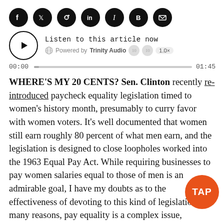[Figure (screenshot): Social media share icons row: Facebook, Twitter, Reddit, LinkedIn, Instapaper, Blogger, Email — all white icons on black circular buttons]
[Figure (screenshot): Audio player widget: play button circle, 'Listen to this article now', Powered by Trinity Audio, speed controls (10 back, 10 forward, 1.0x), progress bar from 00:00 to 01:45]
WHERE'S MY 20 CENTS? Sen. Clinton recently re-introduced paycheck equality legislation timed to women's history month, presumably to curry favor with women voters. It's well documented that women still earn roughly 80 percent of what men earn, and the legislation is designed to close loopholes worked into the 1963 Equal Pay Act. While requiring businesses to pay women salaries equal to those of men is an admirable goal, I have my doubts as to the effectiveness of devoting to this kind of legislation. For many reasons, pay equality is a complex issue, saturated with
[Figure (logo): Orange circular TAP badge overlay in bottom-right corner]